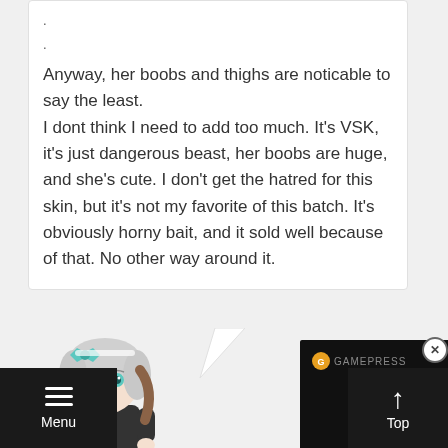.
.
Anyway, her boobs and thighs are noticable to say the least.
I dont think I need to add too much. It's VSK, it's just dangerous beast, her boobs are huge, and she's cute. I don't get the hatred for this skin, but it's not my favorite of this batch. It's obviously horny bait, and it sold well because of that. No other way around it.
[Figure (illustration): Anime chibi character with silver/white hair, teal bow, teal eyes, wearing dark outfit]
[Figure (screenshot): Dark video panel with GamePress logo in top left corner]
Menu
Top